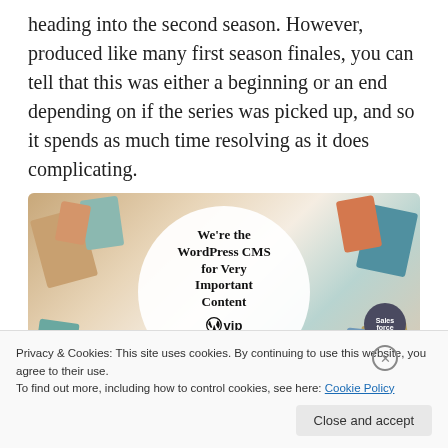heading into the second season. However, produced like many first season finales, you can tell that this was either a beginning or an end depending on if the series was picked up, and so it spends as much time resolving as it does complicating.
[Figure (illustration): Advertisement banner for WordPress VIP CMS service. Shows colorful business card/tag collage background with a white circle in center containing bold text 'We're the WordPress CMS for Very Important Content' with WordPress VIP logo and 'Learn more' button.]
Privacy & Cookies: This site uses cookies. By continuing to use this website, you agree to their use.
To find out more, including how to control cookies, see here: Cookie Policy
Close and accept